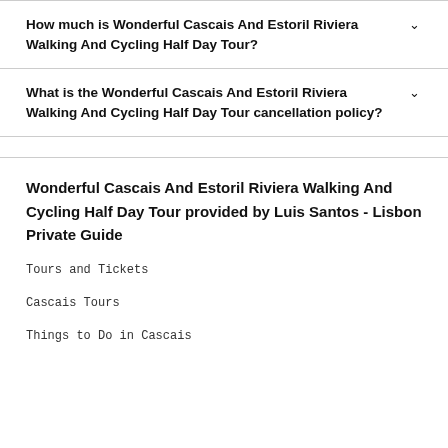How much is Wonderful Cascais And Estoril Riviera Walking And Cycling Half Day Tour?
What is the Wonderful Cascais And Estoril Riviera Walking And Cycling Half Day Tour cancellation policy?
Wonderful Cascais And Estoril Riviera Walking And Cycling Half Day Tour provided by Luis Santos - Lisbon Private Guide
Tours and Tickets
Cascais Tours
Things to Do in Cascais